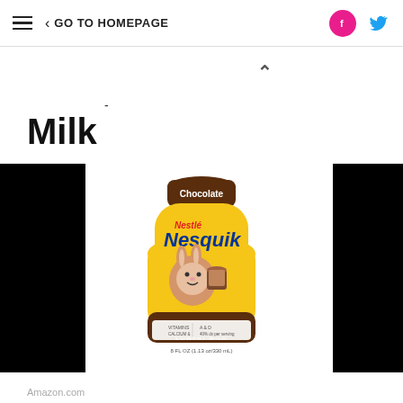≡  < GO TO HOMEPAGE
- Milk
[Figure (photo): Nesquik Chocolate Lowfat Milk bottle (8 fl oz / 1.13 oz / 330 ml) with yellow body, brown cap labeled 'Chocolate', Nestlé Nesquik branding, and cartoon bunny mascot holding a glass of chocolate milk. Flanked by black panels on left and right.]
Amazon.com